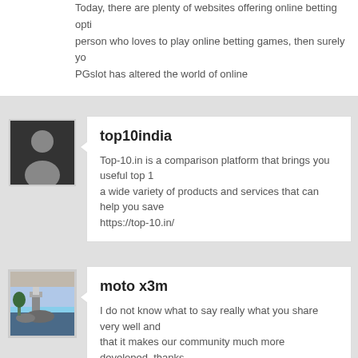Today, there are plenty of websites offering online betting options. If you are a person who loves to play online betting games, then surely you know about it. PGslot has altered the world of online
top10india
Top-10.in is a comparison platform that brings you useful top 10 lists across a wide variety of products and services that can help you save... https://top-10.in/
moto x3m
I do not know what to say really what you share very well and it is that it makes our community much more developed, thanks